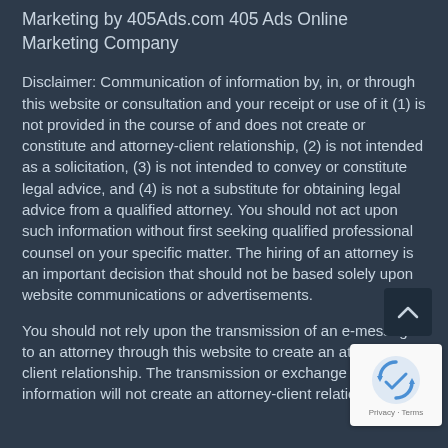Marketing by 405Ads.com 405 Ads Online Marketing Company
Disclaimer: Communication of information by, in, or through this website or consultation and your receipt or use of it (1) is not provided in the course of and does not create or constitute and attorney-client relationship, (2) is not intended as a solicitation, (3) is not intended to convey or constitute legal advice, and (4) is not a substitute for obtaining legal advice from a qualified attorney. You should not act upon such information without first seeking qualified professional counsel on your specific matter. The hiring of an attorney is an important decision that should not be based solely upon website communications or advertisements.
You should not rely upon the transmission of an e-message to an attorney through this website to create an attorney-client relationship. The transmission or exchange of information will not create an attorney-client relationship.